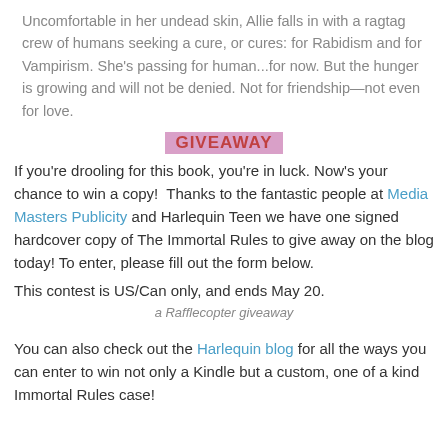Uncomfortable in her undead skin, Allie falls in with a ragtag crew of humans seeking a cure, or cures: for Rabidism and for Vampirism. She's passing for human...for now. But the hunger is growing and will not be denied. Not for friendship—not even for love.
GIVEAWAY
If you're drooling for this book, you're in luck. Now's your chance to win a copy!  Thanks to the fantastic people at Media Masters Publicity and Harlequin Teen we have one signed hardcover copy of The Immortal Rules to give away on the blog today! To enter, please fill out the form below.
This contest is US/Can only, and ends May 20.
a Rafflecopter giveaway
You can also check out the Harlequin blog for all the ways you can enter to win not only a Kindle but a custom, one of a kind Immortal Rules case!